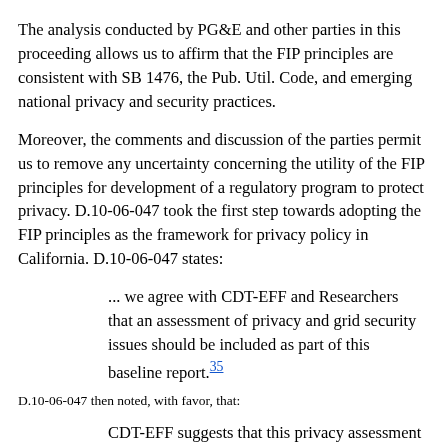The analysis conducted by PG&E and other parties in this proceeding allows us to affirm that the FIP principles are consistent with SB 1476, the Pub. Util. Code, and emerging national privacy and security practices.
Moreover, the comments and discussion of the parties permit us to remove any uncertainty concerning the utility of the FIP principles for development of a regulatory program to protect privacy. D.10-06-047 took the first step towards adopting the FIP principles as the framework for privacy policy in California. D.10-06-047 states:
... we agree with CDT-EFF and Researchers that an assessment of privacy and grid security issues should be included as part of this baseline report.[35]
D.10-06-047 then noted, with favor, that:
CDT-EFF suggests that this privacy assessment should be responsive to the principles outlined in the Fair...